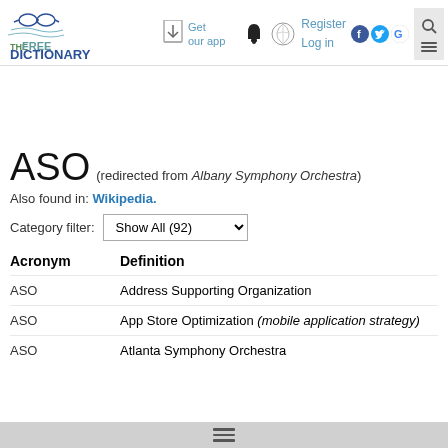THE FREE DICTIONARY by Farlex — Get our app | Register | Log in
ASO (redirected from Albany Symphony Orchestra)
Also found in: Wikipedia.
Category filter: Show All (92)
| Acronym | Definition |
| --- | --- |
| ASO | Address Supporting Organization |
| ASO | App Store Optimization (mobile application strategy) |
| ASO | Atlanta Symphony Orchestra |